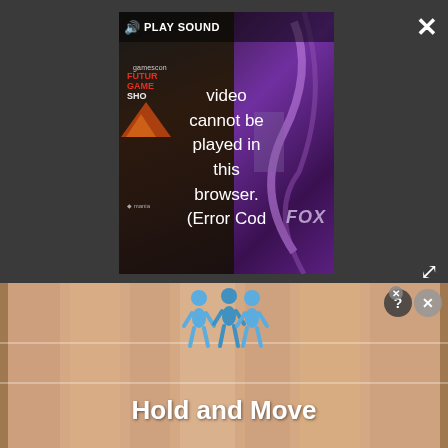[Figure (screenshot): Video player embedded in dark overlay bar. The video cannot be played in browser showing error message. Left side shows Future Games Show with gamescon logo, orange triangle logo, and Mania branding. Right side shows purple gradient with FOX text. Error message reads: 'Video cannot be played in this browser. (Error Cod'. Control bar shows speaker/sound icon and PLAY SOUND text. Top-right has close (X) button; bottom-right has expand/fullscreen arrows icon.]
[Figure (screenshot): Advertisement banner for 'Hold and Move' mobile game. Shows bowling lane background with light wood-colored stripes. Blue figure icons at top center. White bold text reads 'Hold and Move'. Top-right of ad has close (X) button and help (?) button.]